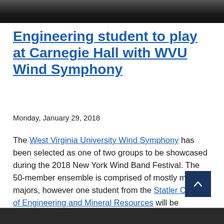[Figure (photo): Dark photograph, likely musicians or instruments, cropped at top of page]
Engineering student to play at Carnegie Hall with WVU Wind Symphony
Monday, January 29, 2018
The West Virginia University Wind Symphony has been selected as one of two groups to be showcased during the 2018 New York Wind Band Festival. The 50-member ensemble is comprised of mostly music majors, however one student from the Statler College of Engineering and Mineral Resources will be accompanying them to perform at the world famous venue, Carnegie Hall.
[Figure (photo): Dark photograph strip at bottom of page]